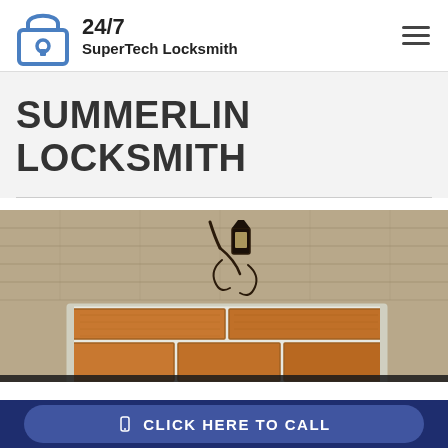[Figure (logo): 24/7 SuperTech Locksmith logo with padlock icon in blue outline and bold text]
SUMMERLIN LOCKSMITH
[Figure (photo): Wooden garage door with stone/brick surround and wall lantern light fixture above door]
CLICK HERE TO CALL